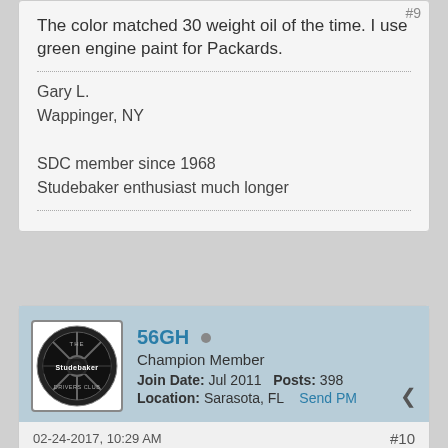#9
The color matched 30 weight oil of the time. I use green engine paint for Packards.
Gary L.
Wappinger, NY

SDC member since 1968
Studebaker enthusiast much longer
56GH • Champion Member
Join Date: Jul 2011   Posts: 398
Location: Sarasota, FL   Send PM
02-24-2017, 10:29 AM
#10
[QUOTE=SergioG;1038331]I've been doing some research on what the factory color was on the engine block and head covers for the 1948 Champions. I can't